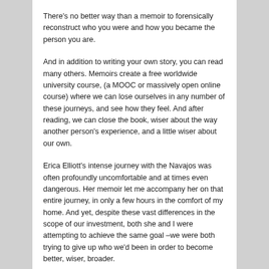There's no better way than a memoir to forensically reconstruct who you were and how you became the person you are.
And in addition to writing your own story, you can read many others. Memoirs create a free worldwide university course, (a MOOC or massively open online course) where we can lose ourselves in any number of these journeys, and see how they feel. And after reading, we can close the book, wiser about the way another person's experience, and a little wiser about our own.
Erica Elliott's intense journey with the Navajos was often profoundly uncomfortable and at times even dangerous. Her memoir let me accompany her on that entire journey, in only a few hours in the comfort of my home. And yet, despite these vast differences in the scope of our investment, both she and I were attempting to achieve the same goal –we were both trying to give up who we'd been in order to become better, wiser, broader.